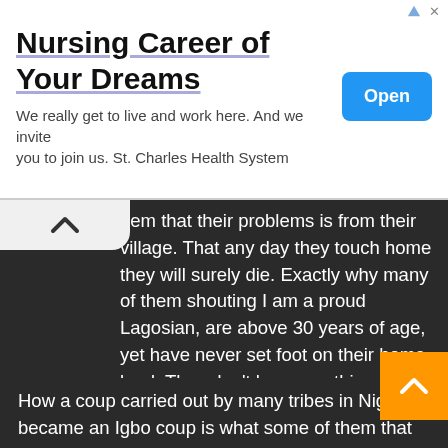[Figure (screenshot): Advertisement banner for nursing career. Title: 'Nursing Career of Your Dreams'. Subtitle: 'We really get to live and work here. And we invite you to join us. St. Charles Health System'. Blue 'Open' button on right.]
hem that their problems is from their village. That any day they touch home they will surely die. Exactly why many of them shouting I am a proud Lagosian, are above 30 years of age, yet have never set foot on their home land. They don't know anything about their people and ancestry and their people know them not. They are the same people that will tell you that Igbo language is nothing. They are quick to speak Yoruba language in the village. That is for the little that goes home. Is it not funny that Ndi Igbo in America, Japan and England can speak Igbo fluently, but someone in Lagos can not. 'Please speak English to them, they don't understand Igbo', is what you hear from their irresponsible parents.
How a coup carried out by many tribes in Nigeria became an Igbo coup is what some of them that